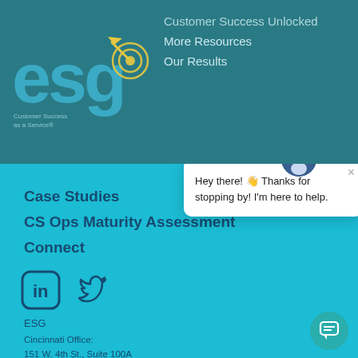[Figure (logo): ESG logo with arrow target icon and 'Customer Success as a Service' tagline]
Customer Success Unlocked | More Resources | Our Results
Case Studies
CS Ops Maturity Assessment
Connect
[Figure (logo): LinkedIn icon (rounded square with 'in')]
[Figure (logo): Twitter/X bird icon]
ESG
Cincinnati Office:
151 W. 4th St., Suite 100A
Cincinnati, OH 45202
844.327.9239
Denver Office:
[Figure (screenshot): Chat popup widget: avatar icon at top right, close X button, message 'Hey there! 👋 Thanks for stopping by! I'm here to help.']